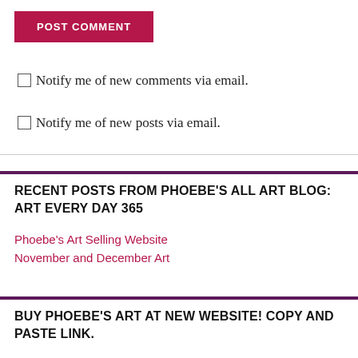POST COMMENT
Notify me of new comments via email.
Notify me of new posts via email.
RECENT POSTS FROM PHOEBE'S ALL ART BLOG: ART EVERY DAY 365
Phoebe's Art Selling Website
November and December Art
BUY PHOEBE'S ART AT NEW WEBSITE! COPY AND PASTE LINK.